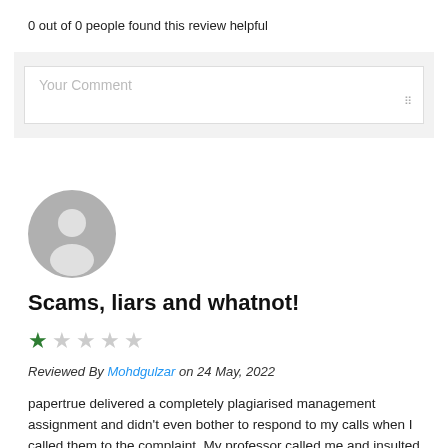0 out of 0 people found this review helpful
[Figure (screenshot): Comment input box with placeholder text 'Your Comment' on a light grey background]
[Figure (illustration): Grey circular avatar with generic person silhouette]
Scams, liars and whatnot!
[Figure (other): 1 out of 5 star rating — one filled green star, four grey stars]
Reviewed By Mohdgulzar on 24 May, 2022
papertrue delivered a completely plagiarised management assignment and didn't even bother to respond to my calls when I called them to the complaint. My professor called me and insulted me in front of the whole class for submitting a plagiarised assignment because of THEM. Please, stay away from papertrue if